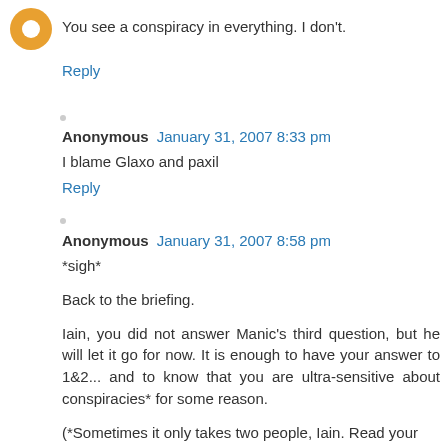You see a conspiracy in everything. I don't.
Reply
Anonymous  January 31, 2007 8:33 pm
I blame Glaxo and paxil
Reply
Anonymous  January 31, 2007 8:58 pm
*sigh*

Back to the briefing.

Iain, you did not answer Manic's third question, but he will let it go for now. It is enough to have your answer to 1&2... and to know that you are ultra-sensitive about conspiracies* for some reason.
(*Sometimes it only takes two people, Iain. Read your